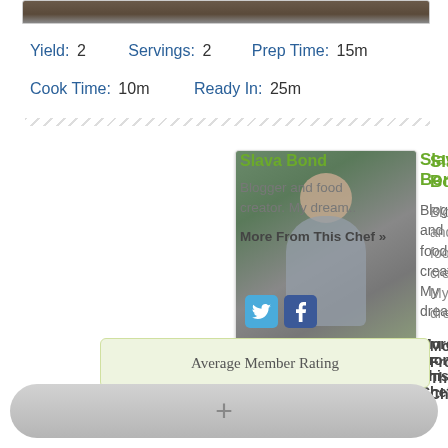[Figure (photo): Top image bar showing partial food photo]
Yield: 2    Servings: 2    Prep Time: 15m
Cook Time: 10m    Ready In: 25m
[Figure (photo): Profile photo of Slava Bond, a man in a grey shirt outdoors with green background]
Slava Bond
Blogger and food creator. My dream..
More From This Chef »
[Figure (logo): Twitter bird icon (blue square with white bird)]
[Figure (logo): Facebook icon (blue square with white f)]
Average Member Rating
[Figure (other): Plus button at the bottom of the screen]